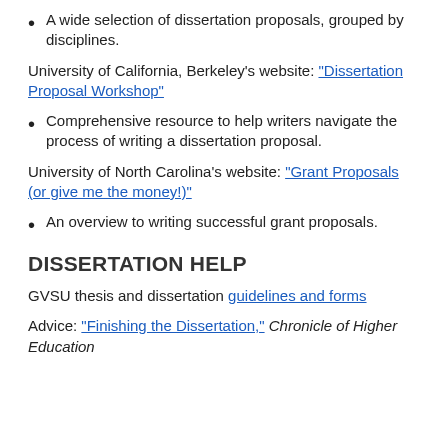A wide selection of dissertation proposals, grouped by disciplines.
University of California, Berkeley's website: "Dissertation Proposal Workshop"
Comprehensive resource to help writers navigate the process of writing a dissertation proposal.
University of North Carolina's website: "Grant Proposals (or give me the money!)"
An overview to writing successful grant proposals.
DISSERTATION HELP
GVSU thesis and dissertation guidelines and forms
Advice: "Finishing the Dissertation," Chronicle of Higher Education